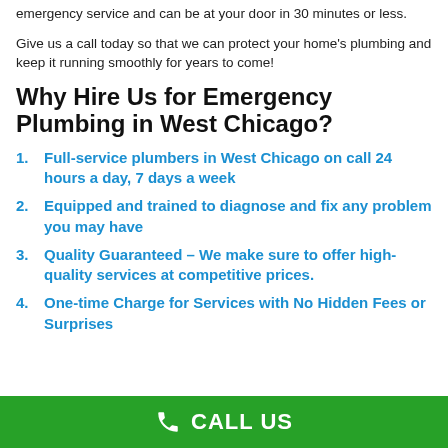emergency service and can be at your door in 30 minutes or less.
Give us a call today so that we can protect your home's plumbing and keep it running smoothly for years to come!
Why Hire Us for Emergency Plumbing in West Chicago?
Full-service plumbers in West Chicago on call 24 hours a day, 7 days a week
Equipped and trained to diagnose and fix any problem you may have
Quality Guaranteed – We make sure to offer high-quality services at competitive prices.
One-time Charge for Services with No Hidden Fees or Surprises
CALL US